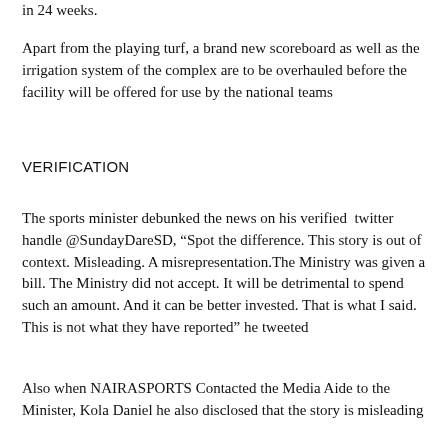in 24 weeks.
Apart from the playing turf, a brand new scoreboard as well as the irrigation system of the complex are to be overhauled before the facility will be offered for use by the national teams
VERIFICATION
The sports minister debunked the news on his verified twitter handle @SundayDareSD, “Spot the difference. This story is out of context. Misleading. A misrepresentation.The Ministry was given a bill. The Ministry did not accept. It will be detrimental to spend such an amount. And it can be better invested. That is what I said. This is not what they have reported” he tweeted
Also when NAIRASPORTS Contacted the Media Aide to the Minister, Kola Daniel he also disclosed that the story is misleading